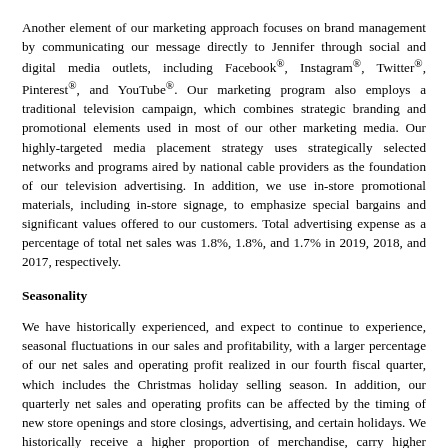Another element of our marketing approach focuses on brand management by communicating our message directly to Jennifer through social and digital media outlets, including Facebook®, Instagram®, Twitter®, Pinterest®, and YouTube®. Our marketing program also employs a traditional television campaign, which combines strategic branding and promotional elements used in most of our other marketing media. Our highly-targeted media placement strategy uses strategically selected networks and programs aired by national cable providers as the foundation of our television advertising. In addition, we use in-store promotional materials, including in-store signage, to emphasize special bargains and significant values offered to our customers. Total advertising expense as a percentage of total net sales was 1.8%, 1.8%, and 1.7% in 2019, 2018, and 2017, respectively.
Seasonality
We have historically experienced, and expect to continue to experience, seasonal fluctuations in our sales and profitability, with a larger percentage of our net sales and operating profit realized in our fourth fiscal quarter, which includes the Christmas holiday selling season. In addition, our quarterly net sales and operating profits can be affected by the timing of new store openings and store closings, advertising, and certain holidays. We historically receive a higher proportion of merchandise, carry higher inventory levels, and incur higher outbound shipping and payroll expenses as a percentage of sales in our third fiscal quarter in anticipation of increased sales activity during our fourth fiscal quarter. Performance during our fourth fiscal quarter typically reflects a leveraging effect which has a favorable impact on our operating results because net sales are higher and certain of our costs, such as rent and depreciation, are fixed and do not vary as sales levels escalate. If our sales performance is